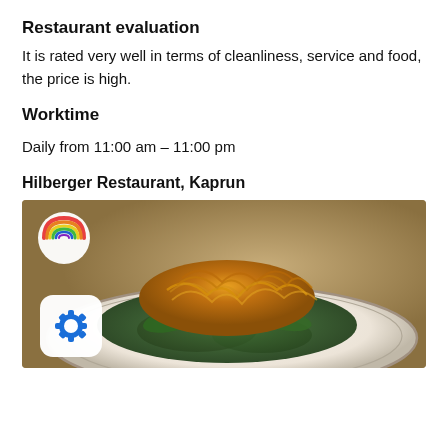Restaurant evaluation
It is rated very well in terms of cleanliness, service and food, the price is high.
Worktime
Daily from 11:00 am – 11:00 pm
Hilberger Restaurant, Kaprun
[Figure (photo): A plate of mixed green salad topped with crispy fried noodles or onion rings at Hilberger Restaurant, Kaprun. A rainbow-colored circular logo is visible in the top left corner, and a blue gear/settings icon overlay is in the bottom left of the image.]